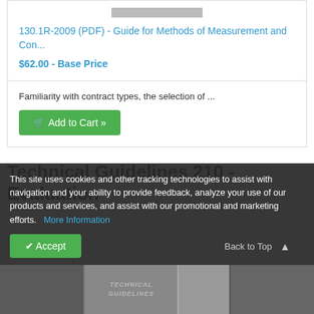130.1R-2009 (PDF) - Guide for Methods of Measurement and Con...
$62.00 - Base Price
Familiarity with contract types, the selection of ...
Add to Cart »
Technical Guidelines 210 - Evaluation
This site uses cookies and other tracking technologies to assist with navigation and your ability to provide feedback, analyze your use of our products and services, and assist with our promotional and marketing efforts.   More Information
Accept
Back to Top